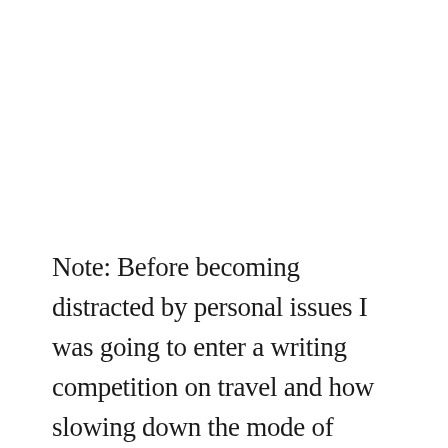Note: Before becoming distracted by personal issues I was going to enter a writing competition on travel and how slowing down the mode of transport enables the adventurer a chance to learn about foreign peoples and their culture. Missing the deadline of January 15, meant that the…